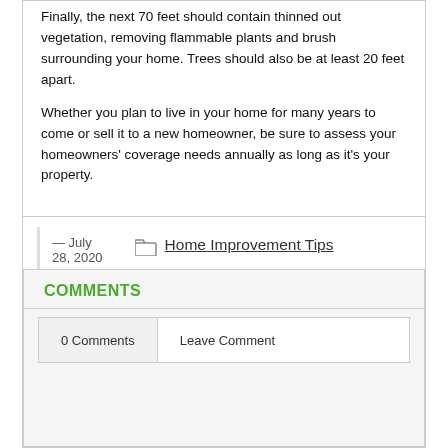Finally, the next 70 feet should contain thinned out vegetation, removing flammable plants and brush surrounding your home. Trees should also be at least 20 feet apart.
Whether you plan to live in your home for many years to come or sell it to a new homeowner, be sure to assess your homeowners' coverage needs annually as long as it's your property.
— July 28, 2020
Home Improvement Tips
COMMENTS
0 Comments
Leave Comment